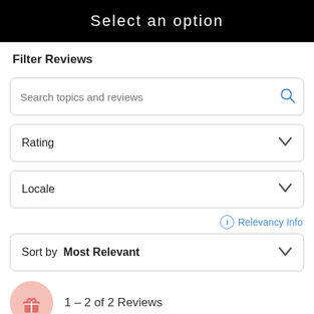Select an option
Filter Reviews
Search topics and reviews
Rating
Locale
Relevancy Info
Sort by  Most Relevant
1 – 2 of 2 Reviews